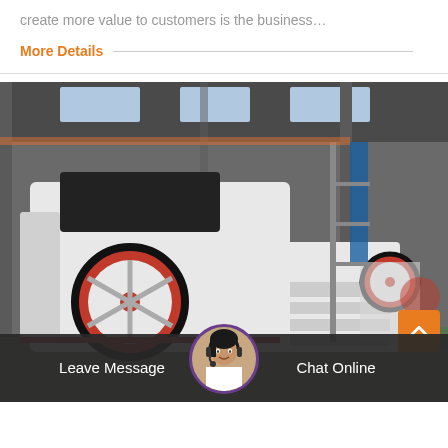create more value to customers is the business…
More Details
[Figure (photo): Industrial hammer crusher / impact crusher machine in white and red, photographed inside a large manufacturing factory warehouse. Multiple machines visible in background. Red flywheel prominent on machine.]
Leave Message
Chat Online